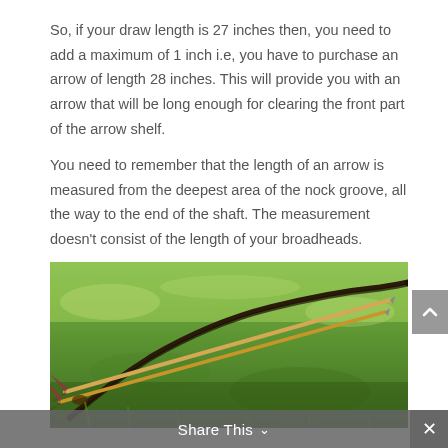So, if your draw length is 27 inches then, you need to add a maximum of 1 inch i.e, you have to purchase an arrow of length 28 inches. This will provide you with an arrow that will be long enough for clearing the front part of the arrow shelf.
You need to remember that the length of an arrow is measured from the deepest area of the nock groove, all the way to the end of the shaft. The measurement doesn't consist of the length of your broadheads.
[Figure (photo): A bow and arrows lying on green grass, photographed from above at a slight angle. The arrows are wooden with feather fletching, and the bow is dark/black recurve style.]
Share This ∨  ×